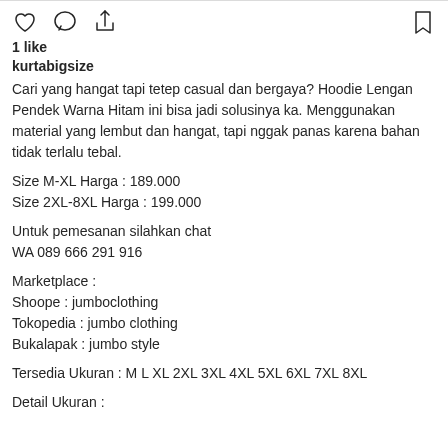1 like
kurtabigsize
Cari yang hangat tapi tetep casual dan bergaya? Hoodie Lengan Pendek Warna Hitam ini bisa jadi solusinya ka. Menggunakan material yang lembut dan hangat, tapi nggak panas karena bahan tidak terlalu tebal.
Size M-XL Harga : 189.000
Size 2XL-8XL Harga : 199.000
Untuk pemesanan silahkan chat
WA 089 666 291 916
Marketplace :
Shoope : jumboclothing
Tokopedia : jumbo clothing
Bukalapak : jumbo style
Tersedia Ukuran : M L XL 2XL 3XL 4XL 5XL 6XL 7XL 8XL
Detail Ukuran :